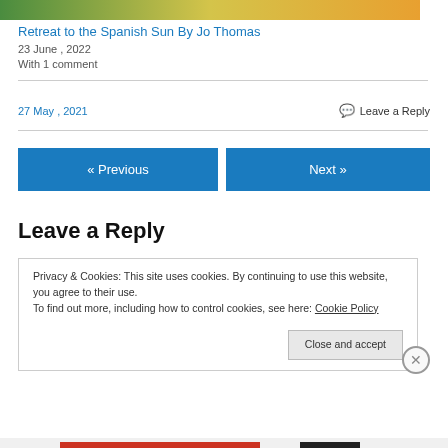[Figure (illustration): Partial top image with green, yellow, orange gradient colors — appears to be a book cover or blog header image cropped]
Retreat to the Spanish Sun By Jo Thomas
23 June , 2022
With 1 comment
27 May , 2021
💬 Leave a Reply
« Previous
Next »
Leave a Reply
Privacy & Cookies: This site uses cookies. By continuing to use this website, you agree to their use.
To find out more, including how to control cookies, see here: Cookie Policy
Close and accept